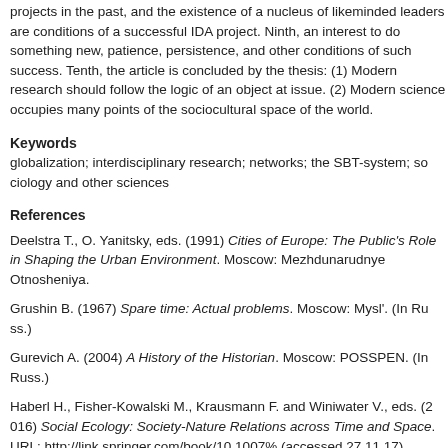projects in the past, and the existence of a nucleus of likeminded leaders are conditions of a successful IDA project. Ninth, an interest to do something new, patience, persistence, and other conditions of such success. Tenth, the article is concluded by the thesis: (1) Modern research should follow the logic of an object at issue. (2) Modern science occupies many points of the sociocultural space of the world.
Keywords
globalization; interdisciplinary research; networks; the SBT-system; sociology and other sciences
References
Deelstra T., O. Yanitsky, eds. (1991) Cities of Europe: The Public's Role in Shaping the Urban Environment. Moscow: Mezhdunarudnye Otnosheniya.
Grushin B. (1967) Spare time: Actual problems. Moscow: Mysl'. (In Russ.)
Gurevich A. (2004) A History of the Historian. Moscow: POSSPEN. (In Russ.)
Haberl H., Fisher-Kowalski M., Krausmann F. and Winiwater V., eds. (2016) Social Ecology: Society-Nature Relations across Time and Space. URL: http://link.springer.com/book/10.1007% (accessed 27.11.17)
Illich I. (2008) Emancipation form Schools. Proportionality and Modern World. Moscow: Prosveshcheniye. (In Russ.)
Kon I. (2008) 80 years of Loneless. Moscow: Vremya. (In Russ.)